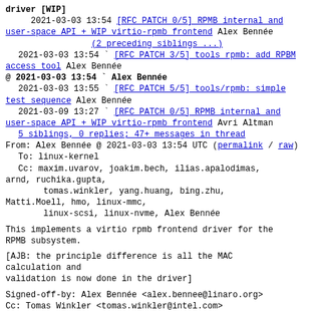driver [WIP]
2021-03-03 13:54 [RFC PATCH 0/5] RPMB internal and user-space API + WIP virtio-rpmb frontend Alex Bennée
(2 preceding siblings ...)
2021-03-03 13:54 ` [RFC PATCH 3/5] tools rpmb: add RPBM access tool Alex Bennée
@ 2021-03-03 13:54 ` Alex Bennée
2021-03-03 13:55 ` [RFC PATCH 5/5] tools/rpmb: simple test sequence Alex Bennée
2021-03-09 13:27 ` [RFC PATCH 0/5] RPMB internal and user-space API + WIP virtio-rpmb frontend Avri Altman
5 siblings, 0 replies; 47+ messages in thread
From: Alex Bennée @ 2021-03-03 13:54 UTC (permalink / raw)
To: linux-kernel
Cc: maxim.uvarov, joakim.bech, ilias.apalodimas, arnd, ruchika.gupta,
        tomas.winkler, yang.huang, bing.zhu,
Matti.Moell, hmo, linux-mmc,
        linux-scsi, linux-nvme, Alex Bennée
This implements a virtio rpmb frontend driver for the RPMB subsystem.
[AJB: the principle difference is all the MAC calculation and
validation is now done in the driver]
Signed-off-by: Alex Bennée <alex.bennee@linaro.org>
Cc: Tomas Winkler <tomas.winkler@intel.com>